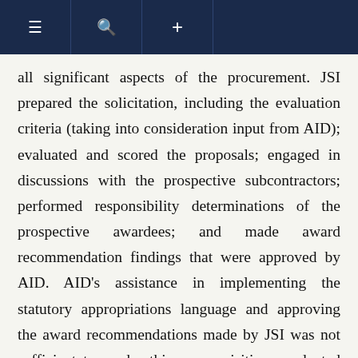≡ 🔍 +
all significant aspects of the procurement. JSI prepared the solicitation, including the evaluation criteria (taking into consideration input from AID); evaluated and scored the proposals; engaged in discussions with the prospective subcontractors; performed responsibility determinations of the prospective awardees; and made award recommendation findings that were approved by AID. AID's assistance in implementing the statutory appropriations language and approving the award recommendations made by JSI was not sufficient to render this an acquisition conducted by AID; a procurement is only by the government where the agency controls the procurement process to such an